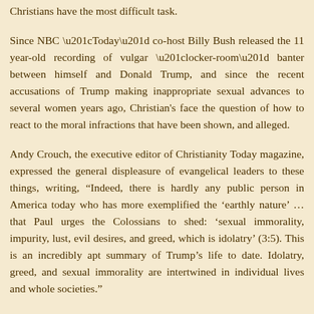Christians have the most difficult task.
Since NBC “Today” co-host Billy Bush released the 11 year-old recording of vulgar “locker-room” banter between himself and Donald Trump, and since the recent accusations of Trump making inappropriate sexual advances to several women years ago, Christian's face the question of how to react to the moral infractions that have been shown, and alleged.
Andy Crouch, the executive editor of Christianity Today magazine, expressed the general displeasure of evangelical leaders to these things, writing, “Indeed, there is hardly any public person in America today who has more exemplified the ‘earthly nature’ … that Paul urges the Colossians to shed: ‘sexual immorality, impurity, lust, evil desires, and greed, which is idolatry’ (3:5). This is an incredibly apt summary of Trump’s life to date. Idolatry, greed, and sexual immorality are intertwined in individual lives and whole societies.”
Those who have been around for more than a few years